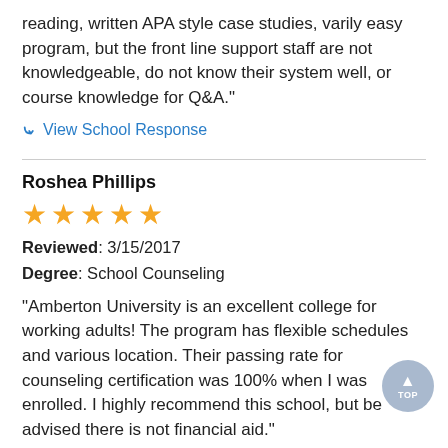reading, written APA style case studies, varily easy program, but the front line support staff are not knowledgeable, do not know their system well, or course knowledge for Q&A."
↵View School Response
Roshea Phillips
★★★★★
Reviewed: 3/15/2017
Degree: School Counseling
"Amberton University is an excellent college for working adults! The program has flexible schedules and various location. Their passing rate for counseling certification was 100% when I was enrolled. I highly recommend this school, but be advised there is not financial aid."
↵View School Response